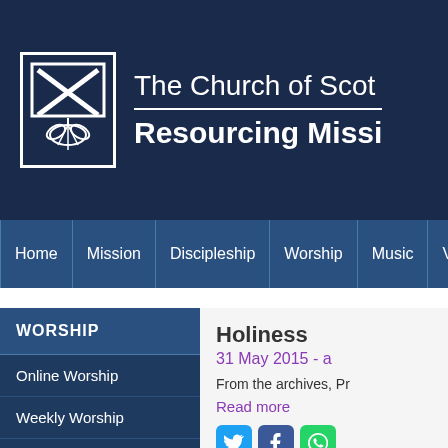The Church of Scotland Resourcing Mission
Home | Mission | Discipleship | Worship | Music | Video
WORSHIP
Online Worship
Weekly Worship
Holiness
31 May 2015 - a...
From the archives, Pr...
Read more